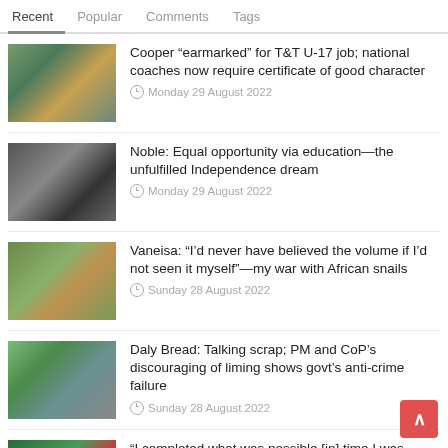Recent | Popular | Comments | Tags
Cooper “earmarked” for T&T U-17 job; national coaches now require certificate of good character — Monday 29 August 2022
Noble: Equal opportunity via education—the unfulfilled Independence dream — Monday 29 August 2022
Vaneisa: “I’d never have believed the volume if I’d not seen it myself”—my war with African snails — Sunday 28 August 2022
Daly Bread: Talking scrap; PM and CoP’s discouraging of liming shows govt’s anti-crime failure — Sunday 28 August 2022
“I completed what was possible [in] time I was here”; Corneal discusses third spell as TTFA TD — Sunday 28 August 2022